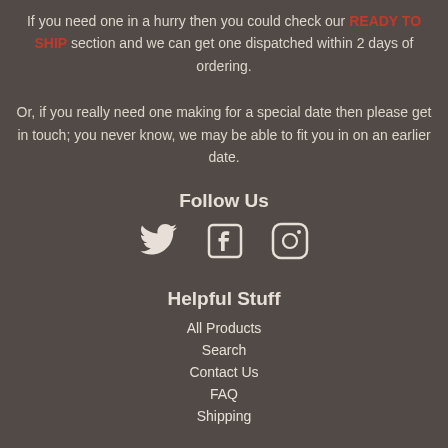If you need one in a hurry then you could check our READY TO SHIP section and we can get one dispatched within 2 days of ordering.
Or, if you really need one making for a special date then please get in touch; you never know, we may be able to fit you in on an earlier date.
Follow Us
[Figure (infographic): Social media icons: Twitter bird, Facebook F, Instagram camera outline]
Helpful Stuff
All Products
Search
Contact Us
FAQ
Shipping